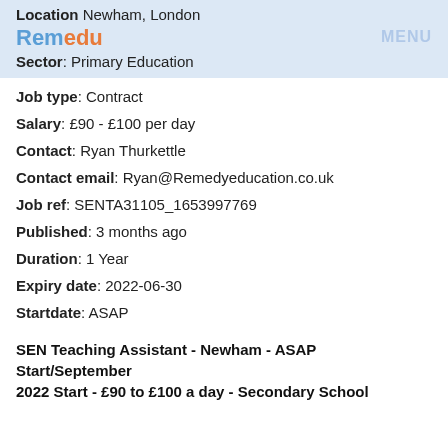Location Newham, London
Sector: Primary Education
Job type: Contract
Salary: £90 - £100 per day
Contact: Ryan Thurkettle
Contact email: Ryan@Remedyeducation.co.uk
Job ref: SENTA31105_1653997769
Published: 3 months ago
Duration: 1 Year
Expiry date: 2022-06-30
Startdate: ASAP
SEN Teaching Assistant - Newham - ASAP Start/September 2022 Start - £90 to £100 a day - Secondary School